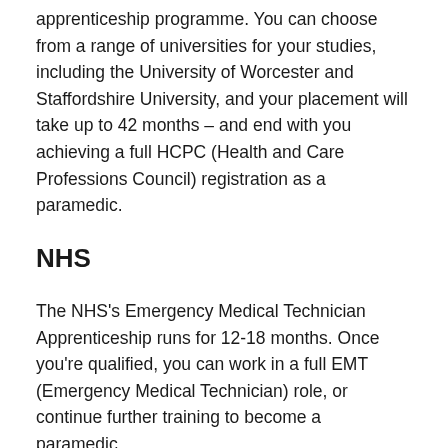apprenticeship programme. You can choose from a range of universities for your studies, including the University of Worcester and Staffordshire University, and your placement will take up to 42 months – and end with you achieving a full HCPC (Health and Care Professions Council) registration as a paramedic.
NHS
The NHS's Emergency Medical Technician Apprenticeship runs for 12-18 months. Once you're qualified, you can work in a full EMT (Emergency Medical Technician) role, or continue further training to become a paramedic.
St John Ambulance